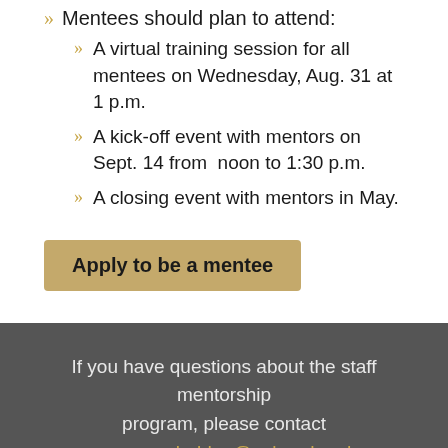Mentees should plan to attend:
A virtual training session for all mentees on Wednesday, Aug. 31 at 1 p.m.
A kick-off event with mentors on Sept. 14 from noon to 1:30 p.m.
A closing event with mentors in May.
Apply to be a mentee
If you have questions about the staff mentorship program, please contact meagan.gabaldon@colorado.edu.
Social media links: Facebook, Twitter, Instagram, YouTube